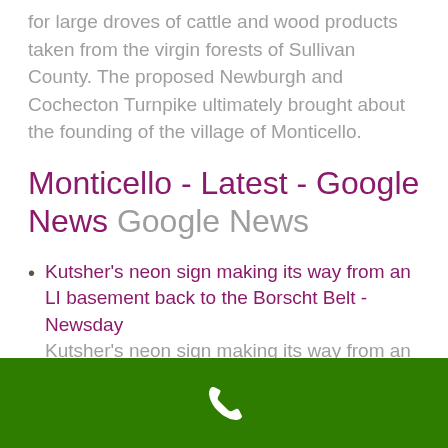for large droves of cattle and wood products taken from the virgin forests of Sullivan County. The proposed Newburgh and Cochecton Turnpike ultimately brought about the founding of the village of Monticello.
Monticello - Latest - Google News Google News
Kutsher's neon sign making its way from an LI basement back to the Borscht Belt - Newsday
Kutsher's neon sign making its way from an LI basement back to the Borscht
[phone icon]